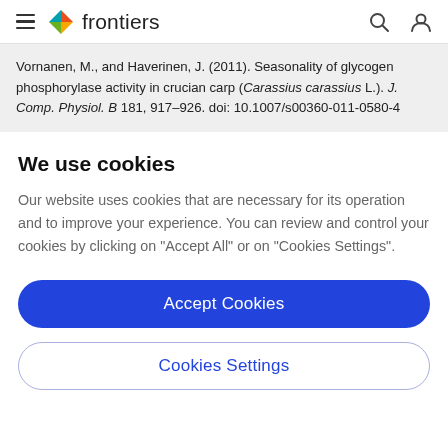frontiers (navigation bar with hamburger menu, logo, search and user icons)
Vornanen, M., and Haverinen, J. (2011). Seasonality of glycogen phosphorylase activity in crucian carp (Carassius carassius L.). J. Comp. Physiol. B 181, 917–926. doi: 10.1007/s00360-011-0580-4
We use cookies
Our website uses cookies that are necessary for its operation and to improve your experience. You can review and control your cookies by clicking on "Accept All" or on "Cookies Settings".
Accept Cookies
Cookies Settings